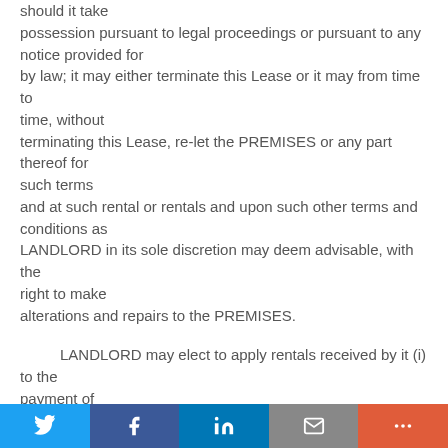should it take possession pursuant to legal proceedings or pursuant to any notice provided for by law; it may either terminate this Lease or it may from time to time, without terminating this Lease, re-let the PREMISES or any part thereof for such terms and at such rental or rentals and upon such other terms and conditions as LANDLORD in its sole discretion may deem advisable, with the right to make alterations and repairs to the PREMISES.
LANDLORD may elect to apply rentals received by it (i) to the payment of any indebtedness, other than rent, due hereunder from TENANT to LANDLORD; (ii) to the payment of any cost of such re-letting including but not limited to any brokers's commissions or fees in connection therewith; (iii) to the
Twitter | Facebook | LinkedIn | Email | More